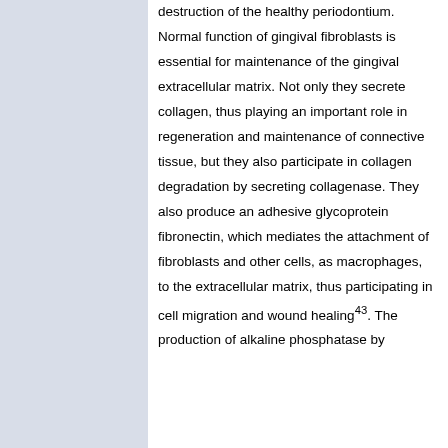destruction of the healthy periodontium. Normal function of gingival fibroblasts is essential for maintenance of the gingival extracellular matrix. Not only they secrete collagen, thus playing an important role in regeneration and maintenance of connective tissue, but they also participate in collagen degradation by secreting collagenase. They also produce an adhesive glycoprotein fibronectin, which mediates the attachment of fibroblasts and other cells, as macrophages, to the extracellular matrix, thus participating in cell migration and wound healing43. The production of alkaline phosphatase by